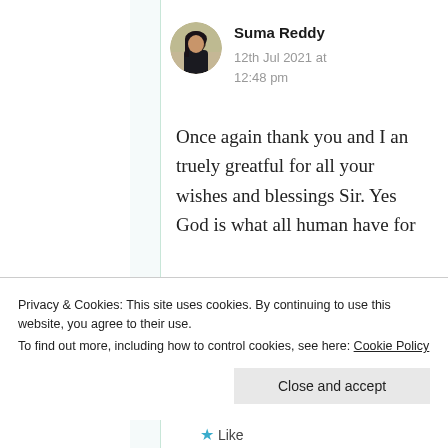[Figure (photo): Circular avatar photo of Suma Reddy]
Suma Reddy
12th Jul 2021 at 12:48 pm
Once again thank you and I an truely greatful for all your wishes and blessings Sir. Yes God is what all human have for
Privacy & Cookies: This site uses cookies. By continuing to use this website, you agree to their use.
To find out more, including how to control cookies, see here: Cookie Policy
Close and accept
Like